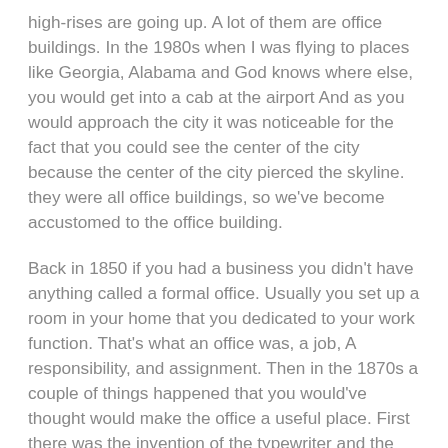high-rises are going up. A lot of them are office buildings. In the 1980s when I was flying to places like Georgia, Alabama and God knows where else, you would get into a cab at the airport And as you would approach the city it was noticeable for the fact that you could see the center of the city because the center of the city pierced the skyline. they were all office buildings, so we've become accustomed to the office building.
Back in 1850 if you had a business you didn't have anything called a formal office. Usually you set up a room in your home that you dedicated to your work function. That's what an office was, a job, A responsibility, and assignment. Then in the 1870s a couple of things happened that you would've thought would make the office a useful place. First there was the invention of the typewriter and the invention of the telephone. But still no office. One of the major